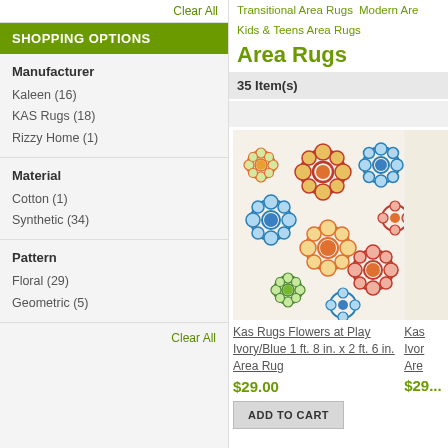Indoor/Outdoor: Indoor/Outdoor  Clear All
SHOPPING OPTIONS
Manufacturer
Kaleen (16)
KAS Rugs (18)
Rizzy Home (1)
Material
Cotton (1)
Synthetic (34)
Pattern
Floral (29)
Geometric (5)
Clear All
Transitional Area Rugs  Modern Are  Kids & Teens Area Rugs
Area Rugs
35 Item(s)
[Figure (photo): Colorful floral area rug with red, blue, orange, green flowers on ivory background]
Kas Rugs Flowers at Play Ivory/Blue 1 ft. 8 in. x 2 ft. 6 in. Area Rug
$29.00
ADD TO CART